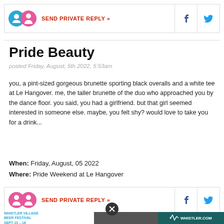[Figure (other): Send Private Reply bar with male/female icons in blue/pink circles, red 'SEND PRIVATE REPLY »' text, and Facebook/Twitter social icons on the right]
Pride Beauty
posted Friday, August, 5th 2022, 5:53am
you, a pint-sized gorgeous brunette sporting black overalls and a white tee at Le Hangover. me, the taller brunette of the duo who approached you by the dance floor. you said, you had a girlfriend. but that girl seemed interested in someone else. maybe, you felt shy? would love to take you for a drink...
When: Friday, August, 05 2022
Where: Pride Weekend at Le Hangover
[Figure (other): Second Send Private Reply bar with two pink female icons, red 'SEND PRIVATE REPLY »' text, and Facebook/Twitter social icons on the right]
[Figure (other): Ad banner: Whistler Village Beer Festival Sept 13-18, Whistler.com logo on dark teal background]